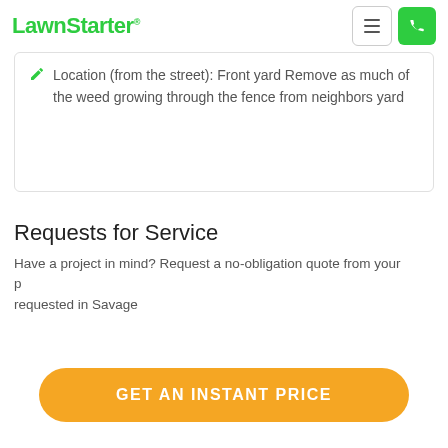LawnStarter®
Location (from the street): Front yard Remove as much of the weed growing through the fence from neighbors yard
Requests for Service
Have a project in mind? Request a no-obligation quote from your p... requested in Savage
GET AN INSTANT PRICE